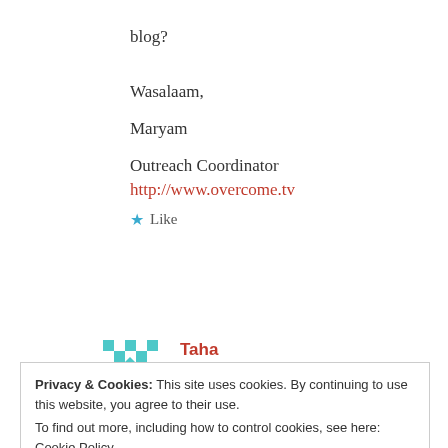blog?
Wasalaam,
Maryam
Outreach Coordinator
http://www.overcome.tv
★ Like
Reply
[Figure (illustration): Teal geometric avatar icon for commenter Taha]
Taha
November 8, 2016 at 7:17 pm
Privacy & Cookies: This site uses cookies. By continuing to use this website, you agree to their use.
To find out more, including how to control cookies, see here: Cookie Policy
Close and accept